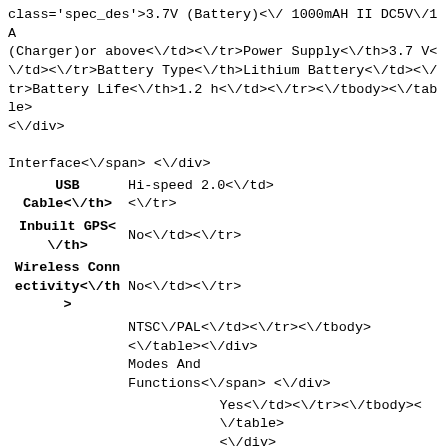class='spec_des'>3.7V (Battery)<\/ 1000mAH II DC5V\/1A (Charger)or above<\/td><\/tr><tr><th class='spec_ttle'>Power Supply<\/th><td class='spec_des'>3.7 V<\/td><\/tr><tr><th class='spec_ttle'>Battery Type<\/th><td class='spec_des'>Lithium Battery<\/td><\/tr><tr><th class='spec_ttle'>Battery Life<\/th><td class='spec_des'>1.2 h<\/td><\/tr><\/tbody><\/table><\/div><div class='spec_box'><div class='spcsLeft'><span class='specHead'>Interface<\/span> <\/div><table class='spec_table'><tbody><tr><th class='spec_ttle'>USB Cable<\/th><td class='spec_des'>Hi-speed 2.0<\/td><\/tr><tr><th class='spec_ttle'>Inbuilt GPS<\/th><td class='spec_des'>No<\/td><\/tr><tr><th class='spec_ttle'>Wireless Connectivity<\/th><td class='spec_des'>No<\/td><\/tr><tr><th class='spec_ttle'>Audio Video Output Type<\/th><td class='spec_des'>NTSC\/PAL<\/td><\/tr><\/tbody><\/table><\/div><div class='spec_box'><div class='spcsLeft'><span class='specHead'>Modes And Functions<\/span> <\/div><table class='spec_table'><tbody><tr><th class='spec_ttle'>Water Resistant<\/th><td class='spec_des'>Yes<\/td><\/tr><\/tbody><\/table><\/div><div class='spec_box'><div class='spcsLeft'><span class='specHead'>Media and Software<\/span><\/div><table class='spec_table'><tbody><tr><th class='spec_ttle'>Upgradeable Memory<\/th><td class='spec_des'>YesII Up to 32GB<\/td><\/tr><tr><th class='spec_ttle'>Memory Card Type<\/th><td class='spec_des'>Micro SD<\/td><\/tr><tr><th class='spec_ttle'>Wi-Fi<\/th><td